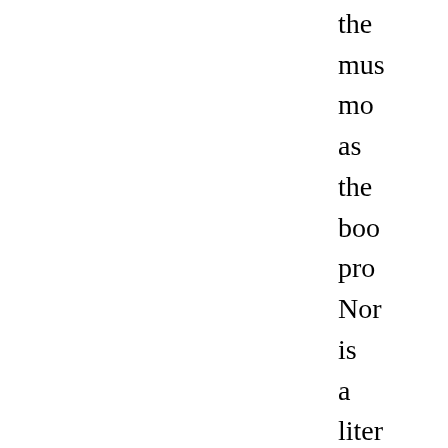the mus mo as the boo pro Nor is a liter guy of cou no surp ther so